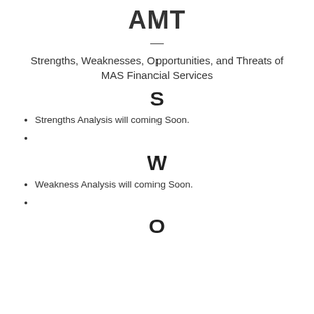AMT
Strengths, Weaknesses, Opportunities, and Threats of MAS Financial Services
S
Strengths Analysis will coming Soon.
W
Weakness Analysis will coming Soon.
O